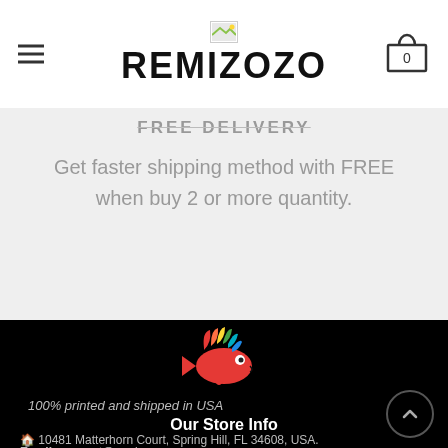REMIZOZO
FREE DELIVERY
Get faster shipping method with FREE when buy 2 or more quantity.
[Figure (logo): Colorful fish logo (hedgehog/chameleon-style fish with rainbow colored fins/spines)]
100% printed and shipped in USA
Our Store Info
🏠 10481 Matterhorn Court, Spring Hill, FL 34608, USA.
Email : support@remizozo.com